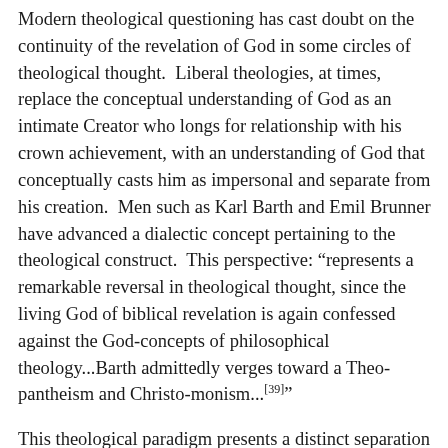Modern theological questioning has cast doubt on the continuity of the revelation of God in some circles of theological thought. Liberal theologies, at times, replace the conceptual understanding of God as an intimate Creator who longs for relationship with his crown achievement, with an understanding of God that conceptually casts him as impersonal and separate from his creation. Men such as Karl Barth and Emil Brunner have advanced a dialectic concept pertaining to the theological construct. This perspective: “represents a remarkable reversal in theological thought, since the living God of biblical revelation is again confessed against the God-concepts of philosophical theology...Barth admittedly verges toward a Theo-pantheism and Christo-monism...[39]”
This theological paradigm presents a distinct separation between the God of the Old Testament and Jesus, as God of the New Testament. This is not unlike Manichaeism ...[40]...